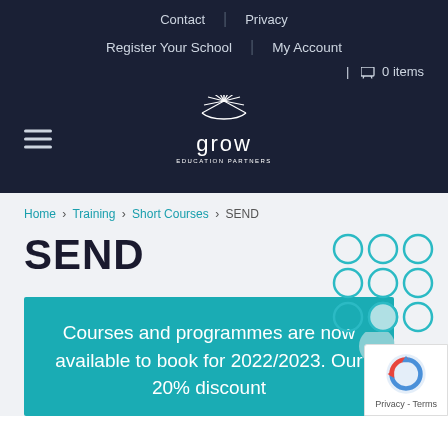Contact | Privacy
Register Your School | My Account
0 items
[Figure (logo): Grow Education Partners logo — sunburst/rays graphic above the word 'grow' with 'EDUCATION PARTNERS' subtitle, white on dark navy background]
Home › Training › Short Courses › SEND
SEND
[Figure (illustration): Decorative grid of teal/dark-teal circles (3×3 grid) with one circle highlighted/filled lighter, and a partial circle below]
Courses and programmes are now available to book for 2022/2023. Our 20% discount